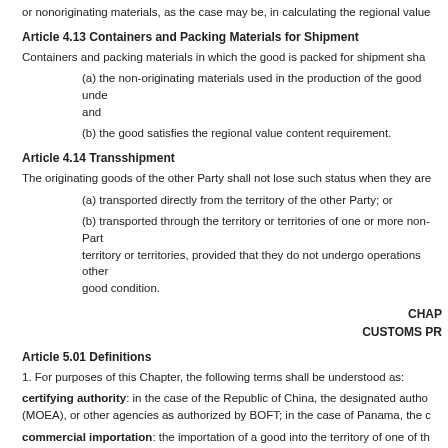or nonoriginating materials, as the case may be, in calculating the regional value
Article 4.13 Containers and Packing Materials for Shipment
Containers and packing materials in which the good is packed for shipment sha
(a) the non-originating materials used in the production of the good under and
(b) the good satisfies the regional value content requirement.
Article 4.14 Transshipment
The originating goods of the other Party shall not lose such status when they are
(a) transported directly from the territory of the other Party; or
(b) transported through the territory or territories of one or more non-Party territory or territories, provided that they do not undergo operations other good condition.
CHAP
CUSTOMS PR
Article 5.01 Definitions
1. For purposes of this Chapter, the following terms shall be understood as:
certifying authority: in the case of the Republic of China, the designated autho (MOEA), or other agencies as authorized by BOFT; in the case of Panama, the c
commercial importation: the importation of a good into the territory of one of th
customs authority: the competent authorities responsible under their respectiv